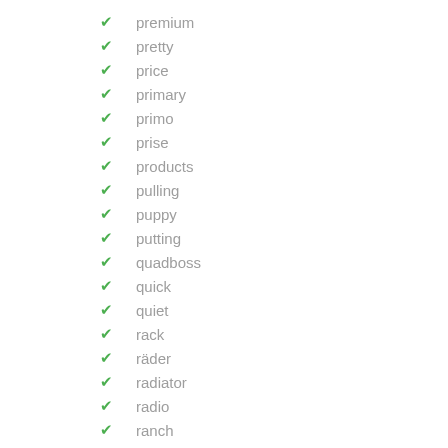premium
pretty
price
primary
primo
prise
products
pulling
puppy
putting
quadboss
quick
quiet
rack
räder
radiator
radio
ranch